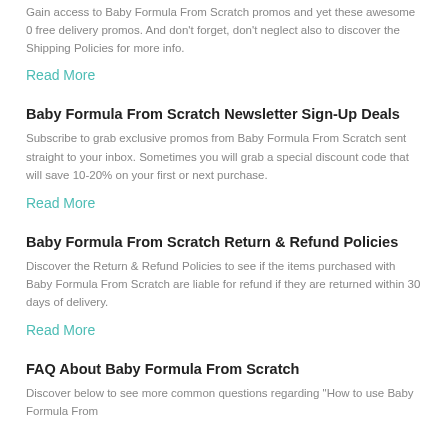Gain access to Baby Formula From Scratch promos and yet these awesome 0 free delivery promos. And don't forget, don't neglect also to discover the Shipping Policies for more info.
Read More
Baby Formula From Scratch Newsletter Sign-Up Deals
Subscribe to grab exclusive promos from Baby Formula From Scratch sent straight to your inbox. Sometimes you will grab a special discount code that will save 10-20% on your first or next purchase.
Read More
Baby Formula From Scratch Return & Refund Policies
Discover the Return & Refund Policies to see if the items purchased with Baby Formula From Scratch are liable for refund if they are returned within 30 days of delivery.
Read More
FAQ About Baby Formula From Scratch
Discover below to see more common questions regarding "How to use Baby Formula From